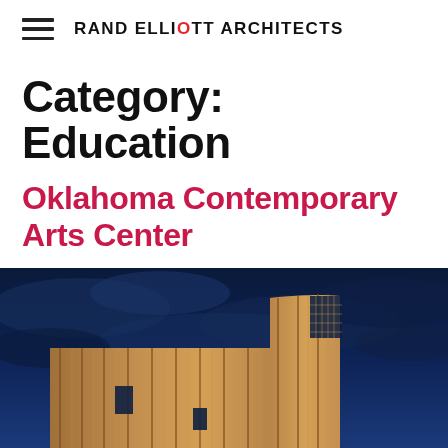RAND ELLIOTT ARCHITECTS
Category: Education
Oklahoma Contemporary Arts Center
[Figure (photo): Architectural photo of a modern building with vertical golden/bronze metal cladding and a curved top section with a grid of windows, photographed at dusk against a dramatic dark blue cloudy sky.]